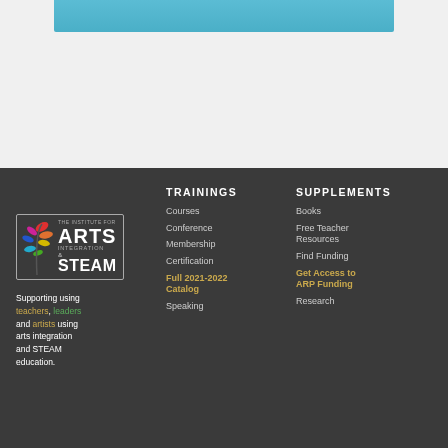[Figure (photo): Cropped top banner image showing a teal/blue colored photo strip, partial view of a classroom or arts integration scene]
[Figure (logo): The Institute for Arts Integration and STEAM logo with colorful leaf graphic and white text on dark background]
Supporting teachers, leaders and artists using arts integration and STEAM education.
TRAININGS
Courses
Conference
Membership
Certification
Full 2021-2022 Catalog
Speaking
SUPPLEMENTS
Books
Free Teacher Resources
Find Funding
Get Access to ARP Funding
Research